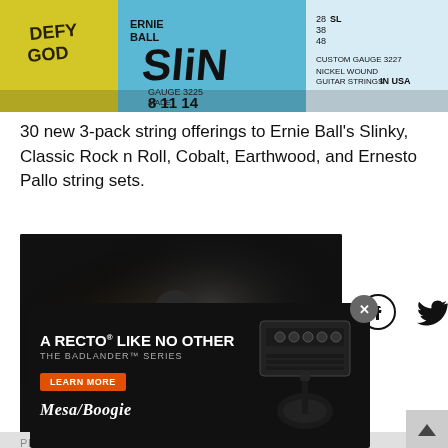[Figure (photo): Close-up of Ernie Ball Slinky guitar string packs including Classic, Slinky, and Custom Gauge sets in yellow, blue, and white packaging.]
30 new 3-pack string offerings to Ernie Ball's Slinky, Classic Rock n Roll, Cobalt, Earthwood, and Ernesto Pallo string sets.
[Figure (screenshot): Video thumbnail showing a person playing an electric guitar in a music studio with amplifiers, with a play button overlay. Social sharing icons (Facebook, Twitter, Email) appear to the right.]
Dr. Z Releases the Z-28 Mk. II
PRESS ... 6, 2022
[Figure (advertisement): Mesa/Boogie advertisement for the Badlander Series amplifier. Headline: 'A Recto Like No Other - The Badlander Series'. Features a Learn More orange button and a guitar amplifier image on the right.]